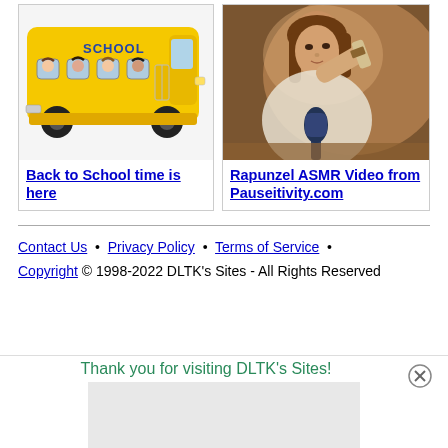[Figure (illustration): Yellow school bus cartoon illustration with children visible through windows and text SCHOOL on the bus]
Back to School time is here
[Figure (photo): Woman with brown hair holding a hairbrush, sitting in front of a blue microphone on a table, warm brown background]
Rapunzel ASMR Video from Pauseitivity.com
Contact Us • Privacy Policy • Terms of Service • Copyright © 1998-2022 DLTK's Sites - All Rights Reserved
Thank you for visiting DLTK's Sites!